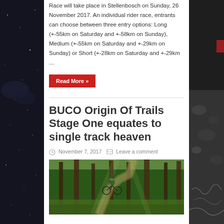Race will take place in Stellenbosch on Sunday, 26 November 2017. An individual rider race, entrants can choose between three entry options: Long (+-55km on Saturday and +-58km on Sunday), Medium (+-55km on Saturday and +-29km on Sunday) or Short (+-28km on Saturday and +-29km ...
Read More »
BUCO Origin Of Trails Stage One equates to single track heaven
November 7, 2017   Leave a comment
[Figure (photo): A mountain biker riding through a forest trail with tall trees, sunlight filtering through the canopy]